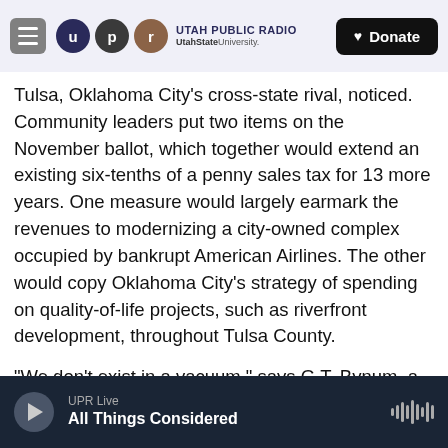Utah Public Radio — UtahState University — Donate
Tulsa, Oklahoma City's cross-state rival, noticed. Community leaders put two items on the November ballot, which together would extend an existing six-tenths of a penny sales tax for 13 more years. One measure would largely earmark the revenues to modernizing a city-owned complex occupied by bankrupt American Airlines. The other would copy Oklahoma City's strategy of spending on quality-of-life projects, such as riverfront development, throughout Tulsa County.
"We don't exist in a vacuum," says G.T. Bynum, a Republican Tulsa City Council member. "There is
UPR Live — All Things Considered